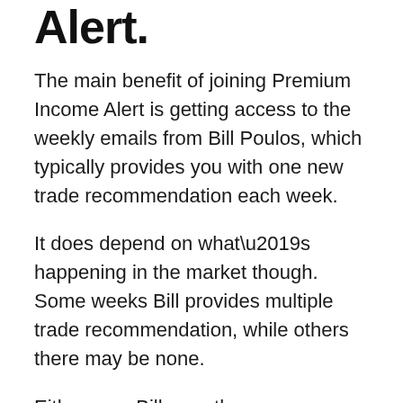Alert.
The main benefit of joining Premium Income Alert is getting access to the weekly emails from Bill Poulos, which typically provides you with one new trade recommendation each week.
It does depend on what’s happening in the market though. Some weeks Bill provides multiple trade recommendation, while others there may be none.
Either way, Bill says the recommendations you receive could help you generate consistent monthly income. How much you make really depends on the individual recommendations, how much you invest and